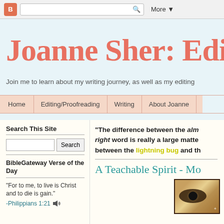More ▼
Joanne Sher: Edit
Join me to learn about my writing journey, as well as my editing
Home | Editing/Proofreading | Writing | About Joanne
Search This Site
BibleGateway Verse of the Day
“For to me, to live is Christ and to die is gain.”
-Philippians 1:21
“The difference between the almost right word and the right word is really a large matter—it’s the difference between the lightning bug and th
A Teachable Spirit - Mo